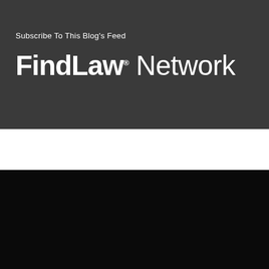Subscribe To This Blog's Feed
[Figure (logo): FindLaw Network logo with bold FindLaw text and lighter Network text on dark background]
Contact A Lawyer